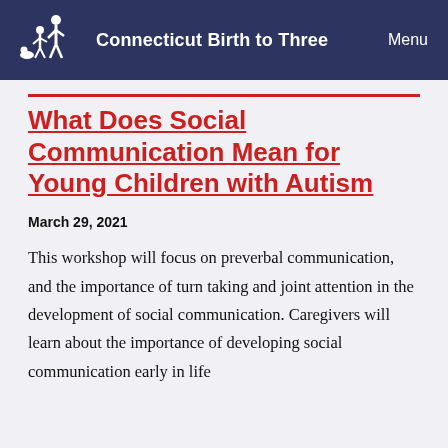Connecticut Birth to Three   Menu
What Does Social Communication Mean for Young Children with Autism
March 29, 2021
This workshop will focus on preverbal communication, and the importance of turn taking and joint attention in the development of social communication. Caregivers will learn about the importance of developing social communication early in life